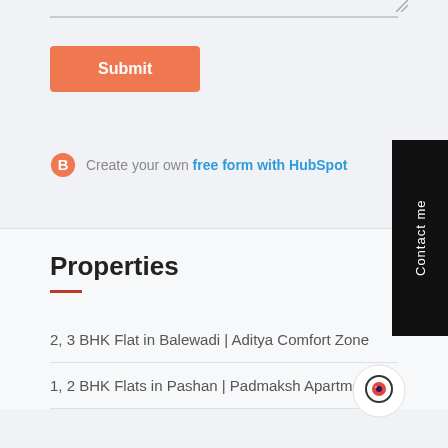[Figure (other): Submit button for a web form with orange background]
Create your own free form with HubSpot
Properties
2, 3 BHK Flat in Balewadi | Aditya Comfort Zone
1, 2 BHK Flats in Pashan | Padmaksh Apartment